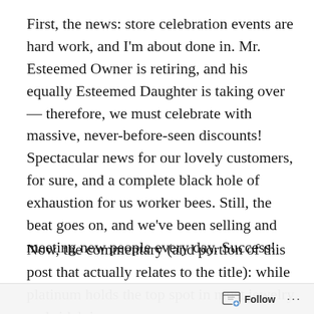First, the news: store celebration events are hard work, and I'm about done in. Mr. Esteemed Owner is retiring, and his equally Esteemed Daughter is taking over — therefore, we must celebrate with massive, never-before-seen discounts! Spectacular news for our lovely customers, for sure, and a complete black hole of exhaustion for us worker bees. Still, the beat goes on, and we've been selling and meeting new people every day. Success!
Now, the commentary (and portion of this post that actually relates to the title): while platinum holds the top spot in most jewelry — bridal, in